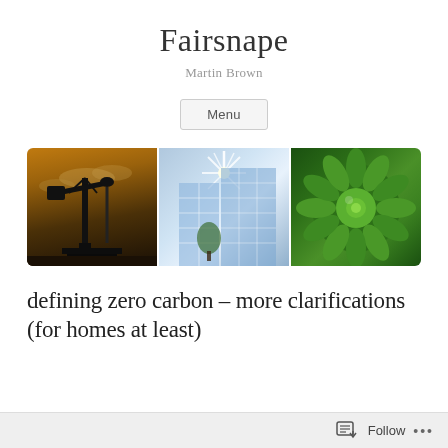Fairsnape
Martin Brown
Menu
[Figure (photo): Banner image with three panels: oil pump jack silhouette against golden sky, glass building facade with sun rays, green plant close-up]
defining zero carbon – more clarifications (for homes at least)
Follow ...